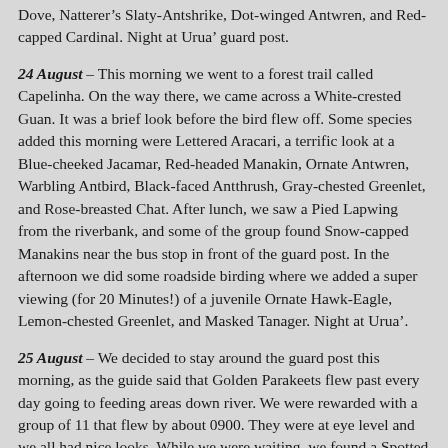Dove, Natterer's Slaty-Antshrike, Dot-winged Antwren, and Red-capped Cardinal. Night at Urua' guard post.
24 August – This morning we went to a forest trail called Capelinha. On the way there, we came across a White-crested Guan. It was a brief look before the bird flew off. Some species added this morning were Lettered Aracari, a terrific look at a Blue-cheeked Jacamar, Red-headed Manakin, Ornate Antwren, Warbling Antbird, Black-faced Antthrush, Gray-chested Greenlet, and Rose-breasted Chat. After lunch, we saw a Pied Lapwing from the riverbank, and some of the group found Snow-capped Manakins near the bus stop in front of the guard post. In the afternoon we did some roadside birding where we added a super viewing (for 20 Minutes!) of a juvenile Ornate Hawk-Eagle, Lemon-chested Greenlet, and Masked Tanager. Night at Urua'.
25 August – We decided to stay around the guard post this morning, as the guide said that Golden Parakeets flew past every day going to feeding areas down river. We were rewarded with a group of 11 that flew by about 0900. They were at eye level and we all had nice looks. While we were waiting, we found a Spotted Puffbird out front of the guard post houses. Other species seen in the area were Short-tailed Swift, Grayish Mourner, Gray-crowned Flycatchers, and Whiskered Flycatcher. In the afternoon, we hiked a loop trail just south of the lodge called the Urua' trail. We added Sclater's Antwren, Ihering's Antwren, and Rufous-necked Puffbird